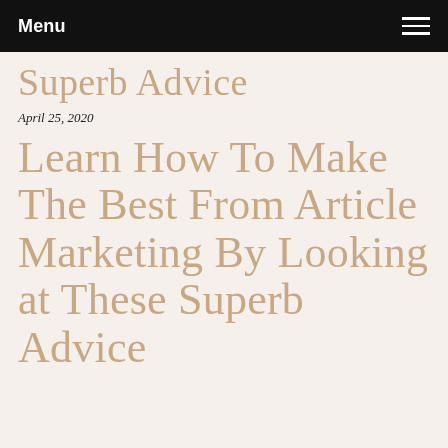Menu
Superb Advice
April 25, 2020
Learn How To Make The Best From Article Marketing By Looking at These Superb Advice